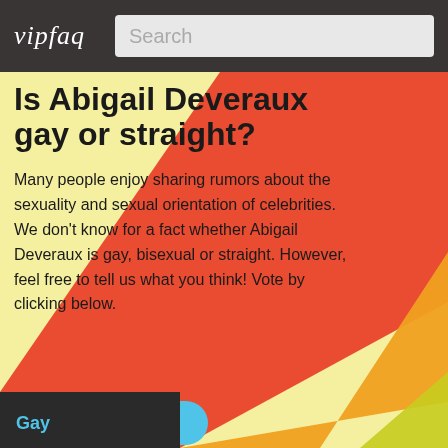vipfaq | Search
Is Abigail Deveraux gay or straight?
Many people enjoy sharing rumors about the sexuality and sexual orientation of celebrities. We don't know for a fact whether Abigail Deveraux is gay, bisexual or straight. However, feel free to tell us what you think! Vote by clicking below.
[Figure (bar-chart): Poll: Gay / Straight / Bi]